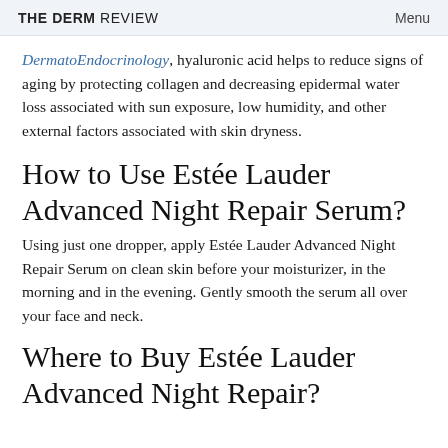THE DERM REVIEW | Menu
DermatoEndocrinology, hyaluronic acid helps to reduce signs of aging by protecting collagen and decreasing epidermal water loss associated with sun exposure, low humidity, and other external factors associated with skin dryness.
How to Use Estée Lauder Advanced Night Repair Serum?
Using just one dropper, apply Estée Lauder Advanced Night Repair Serum on clean skin before your moisturizer, in the morning and in the evening. Gently smooth the serum all over your face and neck.
Where to Buy Estée Lauder Advanced Night Repair?